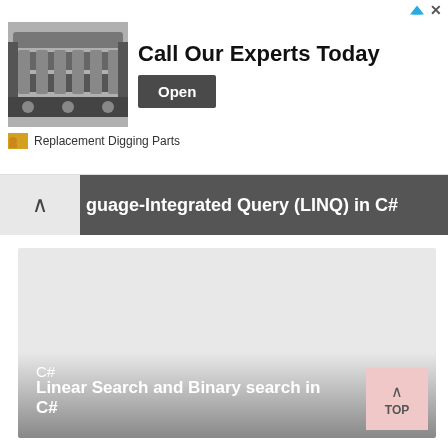[Figure (screenshot): Advertisement banner showing industrial chain/replacement digging parts with text 'Call Our Experts Today' and an Open button]
Replacement Digging Parts
guage-Integrated Query (LINQ) in C#
[Figure (screenshot): Card thumbnail with gradient background, labeled 'C#' with title 'Linear Search and Binary search in C#']
C#
Linear Search and Binary search in C#